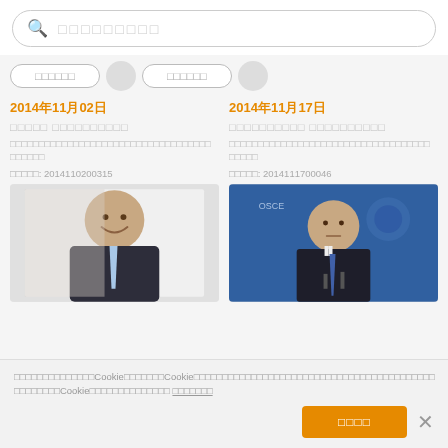🔍 □□□□□□□□□
2014年11月02日
2014年11月17日
□□□□□ □□□□□□□□□□
□□□□□□□□□□ □□□□□□□□□□
□□□□□□□□□□□□□□□□□□□□□□□□□□□□□□□□□□□ □□□□□□
□□□□□□□□□□□□□□□□□□□□□□□□□□□□□□□□□□□ □□□□□
□□□□□: 2014110200315
□□□□□: 2014111700046
[Figure (photo): Man in dark suit smiling, light blue tie]
[Figure (photo): Man in dark suit at podium with microphone, blue flag background]
□□□□□□□□□□□□Cookie□□□□□□□Cookie□□□□□□□□□□□□□□□□□□□□□□□□□□□□□□□□□□□□□□□□□□Cookie□□□□□□□□□□□□□□ □□□□□□□
□□□□